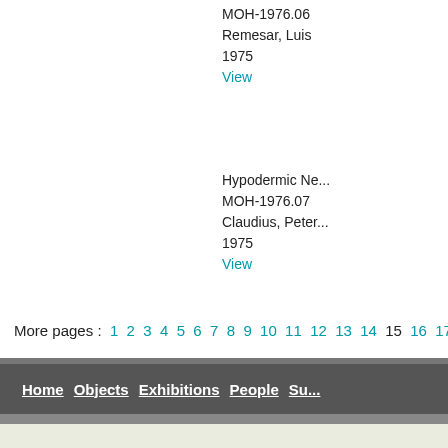MOH-1976.06
Remesar, Luis
1975
View
Hypodermic Ne...
MOH-1976.07
Claudius, Peter...
1975
View
More pages : 1 2 3 4 5 6 7 8 9 10 11 12 13 14 15 16 17 18 19 20 21 22 23...
Home   Objects   Exhibitions   People   Su...
Collections use policies , services and fees . Please contact us with any comments or questions
All content copyright © [MIT Museum]. All Rights Reserved.